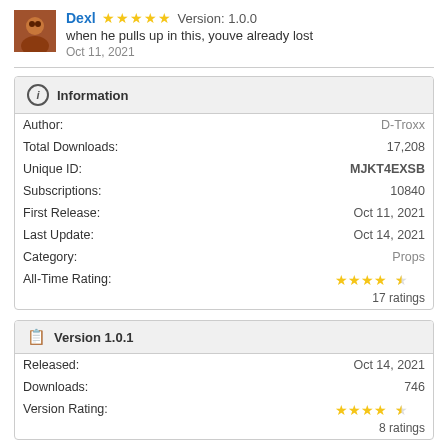Dexl ★★★★★ Version: 1.0.0
when he pulls up in this, youve already lost
Oct 11, 2021
| Field | Value |
| --- | --- |
| Author: | D-Troxx |
| Total Downloads: | 17,208 |
| Unique ID: | MJKT4EXSB |
| Subscriptions: | 10840 |
| First Release: | Oct 11, 2021 |
| Last Update: | Oct 14, 2021 |
| Category: | Props |
| All-Time Rating: | ★★★★½ 17 ratings |
| Field | Value |
| --- | --- |
| Released: | Oct 14, 2021 |
| Downloads: | 746 |
| Version Rating: | ★★★★½ 8 ratings |